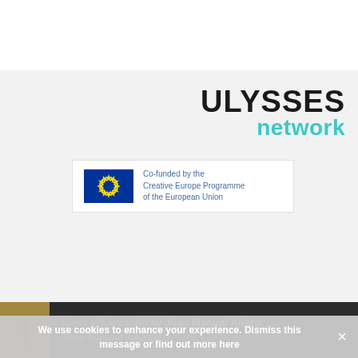[Figure (logo): ULYSSES network logo with dark bold ULYSSES text and teal 'network' text below]
[Figure (logo): EU Creative Europe Programme co-funding badge with EU flag and text 'Co-funded by the Creative Europe Programme of the European Union']
[Figure (illustration): Dark footer bar showing book thumbnail image and text: 'Nieve y Barcarola by Juan Manuel Artero' with author name 'Juan Manuel ARTERO' in teal]
We use cookies to enhance your experience. Dismiss this message or find out more here